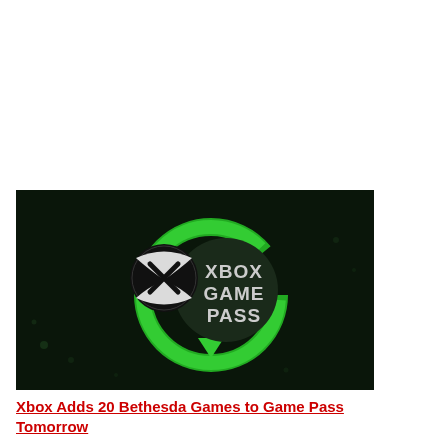[Figure (logo): Xbox Game Pass logo on dark background — green circular arrow surrounding a dark circle with 'XBOX GAME PASS' text in white, with Xbox sphere logo (black and white) overlapping on the left. Background is dark green/black with subtle light bokeh.]
Xbox Adds 20 Bethesda Games to Game Pass Tomorrow